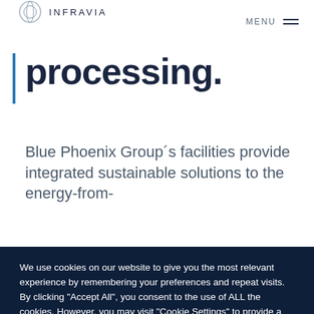INFRAVIA | MENU
processing.
Blue Phoenix Group´s facilities provide integrated sustainable solutions to the energy-from-
We use cookies on our website to give you the most relevant experience by remembering your preferences and repeat visits. By clicking "Accept All", you consent to the use of ALL the cookies. However, you may visit "Cookie Settings" to provide a controlled consent.
Cookie Settings | Accept All